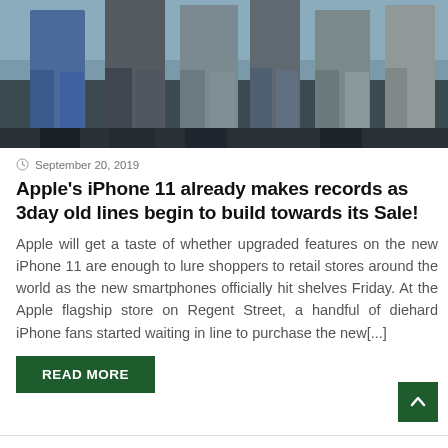[Figure (photo): Photo showing a crowd of people from the waist down, standing in line, wearing jeans and various pants]
September 20, 2019
Apple's iPhone 11 already makes records as 3day old lines begin to build towards its Sale!
Apple will get a taste of whether upgraded features on the new iPhone 11 are enough to lure shoppers to retail stores around the world as the new smartphones officially hit shelves Friday. At the Apple flagship store on Regent Street, a handful of diehard iPhone fans started waiting in line to purchase the new[...]
READ MORE